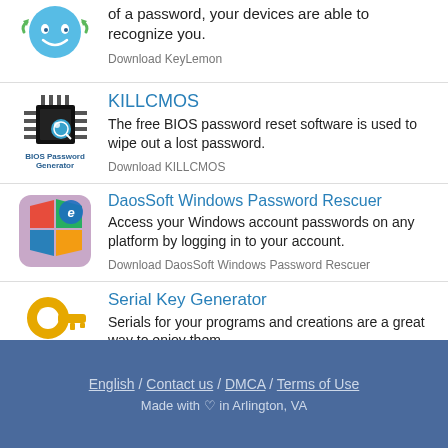of a password, your devices are able to recognize you.
Download KeyLemon
KILLCMOS
The free BIOS password reset software is used to wipe out a lost password.
Download KILLCMOS
DaosSoft Windows Password Rescuer
Access your Windows account passwords on any platform by logging in to your account.
Download DaosSoft Windows Password Rescuer
Serial Key Generator
Serials for your programs and creations are a great way to enjoy them.
Download Serial Key Generator
English / Contact us / DMCA / Terms of Use
Made with ♡ in Arlington, VA